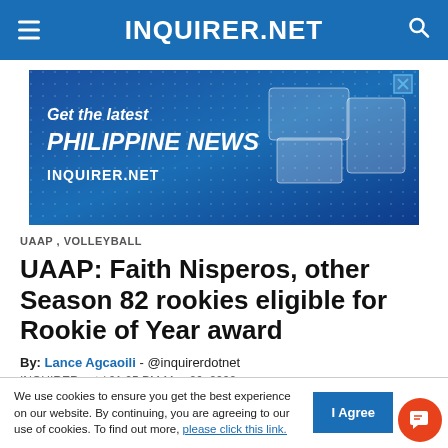INQUIRER.NET
[Figure (screenshot): Advertisement banner for INQUIRER.NET with text: Get the latest PHILIPPINE NEWS INQUIRER.NET, with blue background, dot pattern, and device mockups on the right.]
UAAP , VOLLEYBALL
UAAP: Faith Nisperos, other Season 82 rookies eligible for Rookie of Year award
By: Lance Agcaoili - @inquirerdotnet
INQUIRER.net / 01:05 PM May 26, 2022
We use cookies to ensure you get the best experience on our website. By continuing, you are agreeing to our use of cookies. To find out more, please click this link.